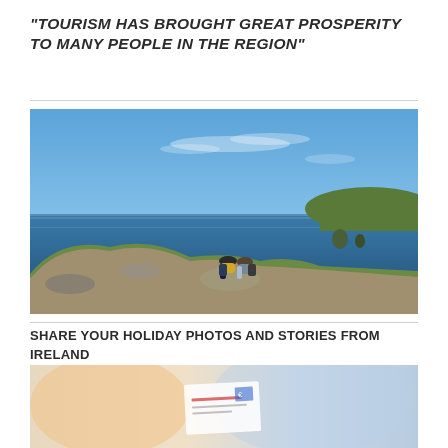“Tourism has brought great prosperity to many people in the region”
[Figure (photo): Two hikers with backpacks sitting on rocky coastal cliffs overlooking a blue sea with green headlands in the background, sunny day with blue sky.]
Share your holiday photos and stories from Ireland
[Figure (photo): Blurred close-up of a postcard or holiday photo with colorful elements, partially visible text.]